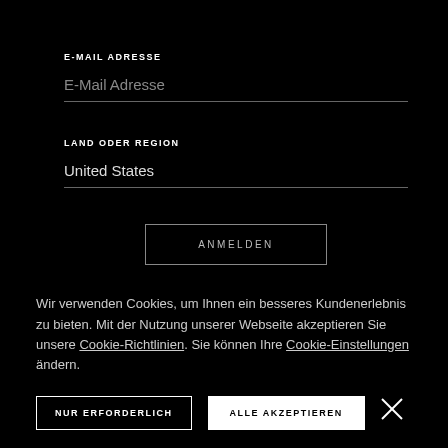E-MAIL ADRESSE
E-Mail Adresse
LAND ODER REGION
United States
ANMELDEN
Wir verwenden Cookies, um Ihnen ein besseres Kundenerlebnis zu bieten. Mit der Nutzung unserer Webseite akzeptieren Sie unsere Cookie-Richtlinien. Sie können Ihre Cookie-Einstellungen ändern.
NUR ERFORDERLICH
ALLE AKZEPTIEREN